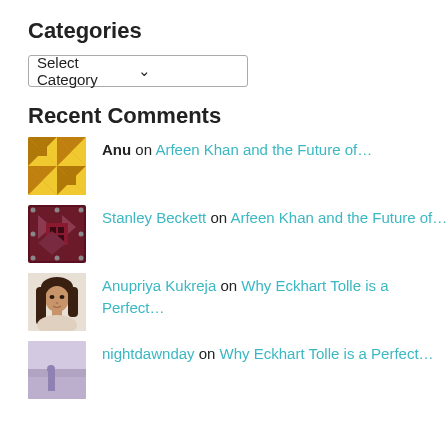Categories
[Figure (other): Dropdown select box labeled 'Select Category' with a chevron arrow on the right]
Recent Comments
Anu on Arfeen Khan and the Future of...
Stanley Beckett on Arfeen Khan and the Future of...
Anupriya Kukreja on Why Eckhart Tolle is a Perfect...
nightdawnday on Why Eckhart Tolle is a Perfect...